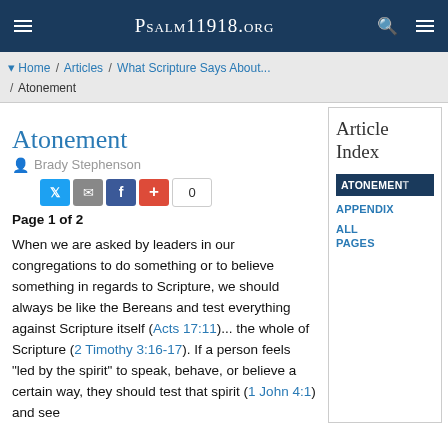Psalm11918.org
Home / Articles / What Scripture Says About... / Atonement
Atonement
Brady Stephenson
Page 1 of 2
When we are asked by leaders in our congregations to do something or to believe something in regards to Scripture, we should always be like the Bereans and test everything against Scripture itself (Acts 17:11)... the whole of Scripture (2 Timothy 3:16-17). If a person feels "led by the spirit" to speak, behave, or believe a certain way, they should test that spirit (1 John 4:1) and see
Article Index
ATONEMENT
APPENDIX
ALL PAGES